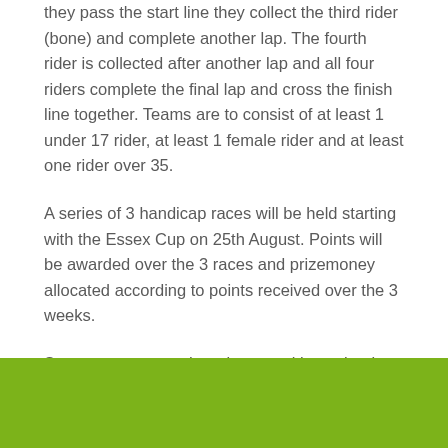they pass the start line they collect the third rider (bone) and complete another lap. The fourth rider is collected after another lap and all four riders complete the final lap and cross the finish line together. Teams are to consist of at least 1 under 17 rider, at least 1 female rider and at least one rider over 35.
A series of 3 handicap races will be held starting with the Essex Cup on 25th August. Points will be awarded over the 3 races and prizemoney allocated according to points received over the 3 weeks.
So as you can see there is an exciting calendar of races planned from now until Christmas so if you don't want to miss out on any of the action click here for your weekly  email reminder.